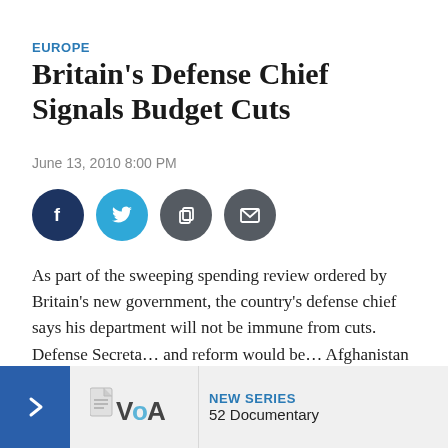EUROPE
Britain's Defense Chief Signals Budget Cuts
June 13, 2010 8:00 PM
[Figure (other): Four social share buttons: Facebook (dark blue), Twitter (light blue), Copy (dark grey), Email (dark grey)]
As part of the sweeping spending review ordered by Britain's new government, the country's defense chief says his department will not be immune from cuts. Defense Secreta… and reform would be… Afghanistan remains…
[Figure (logo): VOA logo with NEW SERIES label and 52 Documentary text on a light grey banner with blue arrow]